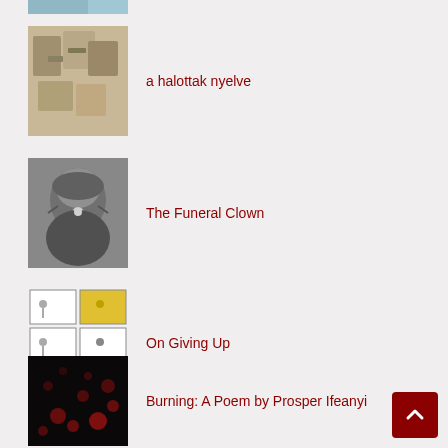[Figure (photo): Partial thumbnail of image at top, partially cropped]
a halottak nyelve
The Funeral Clown
On Giving Up
Burning: A Poem by Prosper Ifeanyi